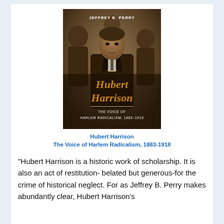[Figure (illustration): Book cover of 'Hubert Harrison: The Voice of Harlem Radicalism, 1883-1918' by Jeffrey B. Perry. Sepia-toned photograph of a Black man seated with arms crossed, surrounded by other men. Title 'Hubert Harrison' appears in large gold/orange serif text, subtitle 'THE VOICE OF HARLEM RADICALISM, 1883-1918' in white text below.]
Hubert Harrison
The Voice of Harlem Radicalism, 1883-1918
"Hubert Harrison is a historic work of scholarship. It is also an act of restitution- belated but generous-for the crime of historical neglect. For as Jeffrey B. Perry makes abundantly clear, Hubert Harrison's